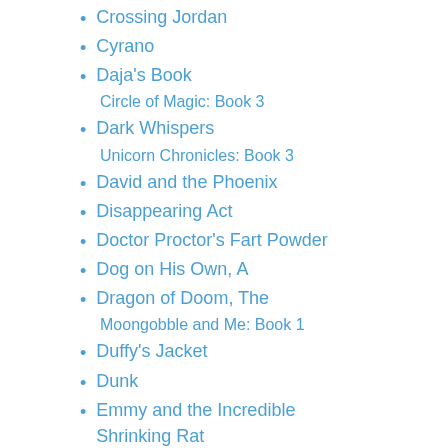Crossing Jordan
Cyrano
Daja's Book
    Circle of Magic: Book 3
Dark Whispers
    Unicorn Chronicles: Book 3
David and the Phoenix
Disappearing Act
Doctor Proctor's Fart Powder
Dog on His Own, A
Dragon of Doom, The
    Moongobble and Me: Book 1
Duffy's Jacket
Dunk
Emmy and the Incredible Shrinking Rat
Emperor Mage
    The Immortals: Book 3
Entertainer and the Dybbuk, The